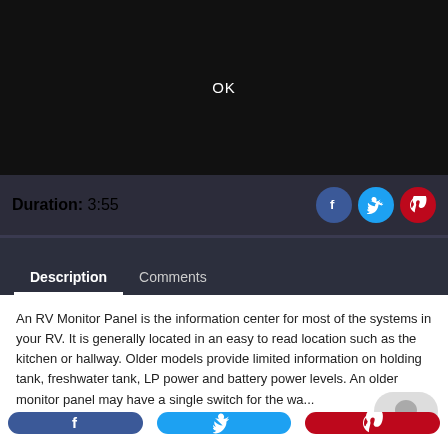[Figure (screenshot): Black video player area with white 'OK' text centered]
Duration: 3:55
[Figure (other): Social share icons: Facebook (blue circle), Twitter (cyan circle), Pinterest (red circle)]
Description    Comments
An RV Monitor Panel is the information center for most of the systems in your RV. It is generally located in an easy to read location such as the kitchen or hallway. Older models provide limited information on holding tank, freshwater tank, LP power and battery power levels. An older monitor panel may have a single switch for the wa...
[Figure (other): Bottom share buttons: Facebook (dark blue pill), Twitter (blue pill), Pinterest (red pill)]